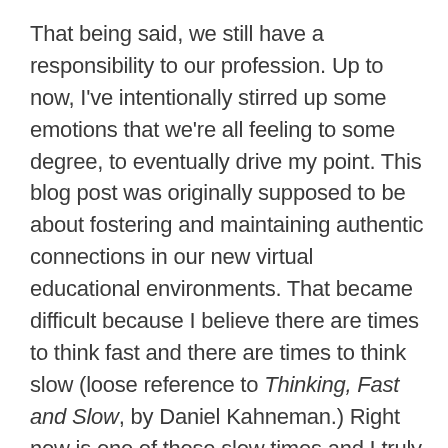That being said, we still have a responsibility to our profession. Up to now, I've intentionally stirred up some emotions that we're all feeling to some degree, to eventually drive my point. This blog post was originally supposed to be about fostering and maintaining authentic connections in our new virtual educational environments. That became difficult because I believe there are times to think fast and there are times to think slow (loose reference to Thinking, Fast and Slow, by Daniel Kahneman.) Right now is one of those slow times and I truly feel we could possibly get way more out of this moment if we embrace the slowness of deeper thinking, analysis, and awareness. Most of us are so distracted and processing soooo much as it is. Solistalgia is a real thing. We absolutely need to be kind to ourselves and our students, and slowly but